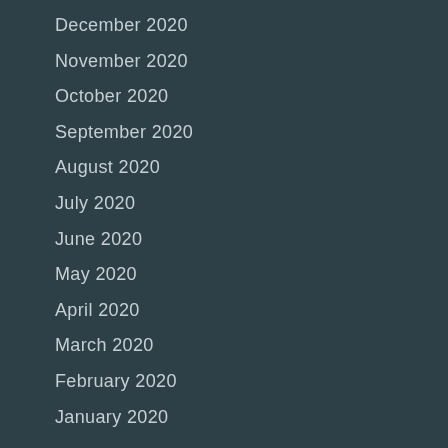December 2020
November 2020
October 2020
September 2020
August 2020
July 2020
June 2020
May 2020
April 2020
March 2020
February 2020
January 2020